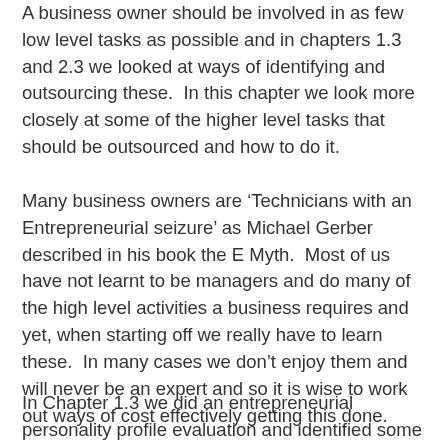A business owner should be involved in as few low level tasks as possible and in chapters 1.3 and 2.3 we looked at ways of identifying and outsourcing these.  In this chapter we look more closely at some of the higher level tasks that should be outsourced and how to do it.
Many business owners are ‘Technicians with an Entrepreneurial seizure’ as Michael Gerber described in his book the E Myth.  Most of us have not learnt to be managers and do many of the high level activities a business requires and yet, when starting off we really have to learn these.  In many cases we don’t enjoy them and will never be an expert and so it is wise to work out ways of cost effectively getting this done.
In Chapter 1.3 we did an entrepreneurial personality profile evaluation and identified some of the business and personal strengths and this will help in determining the kind of activities that you can and can’t do